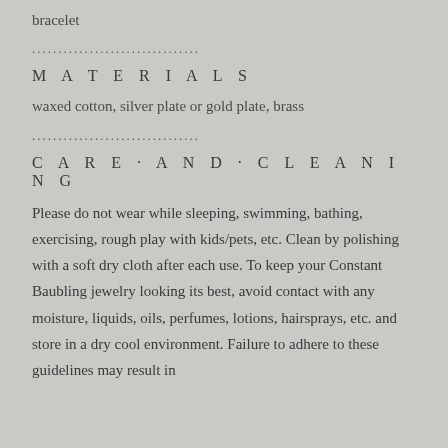bracelet
................................
M A T E R I A L S
waxed cotton, silver plate or gold plate, brass
................................
C A R E · A N D · C L E A N I N G
Please do not wear while sleeping, swimming, bathing, exercising, rough play with kids/pets, etc. Clean by polishing with a soft dry cloth after each use. To keep your Constant Baubling jewelry looking its best, avoid contact with any moisture, liquids, oils, perfumes, lotions, hairsprays, etc. and store in a dry cool environment. Failure to adhere to these guidelines may result in